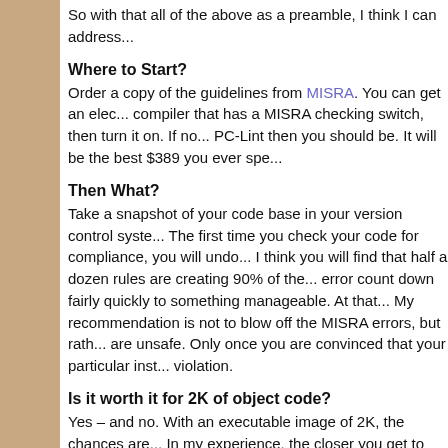So with that all of the above as a preamble, I think I can address...
Where to Start?
Order a copy of the guidelines from MISRA. You can get an elec... compiler that has a MISRA checking switch, then turn it on. If no... PC-Lint then you should be. It will be the best $389 you ever spe...
Then What?
Take a snapshot of your code base in your version control syste... The first time you check your code for compliance, you will undo... I think you will find that half a dozen rules are creating 90% of the... error count down fairly quickly to something manageable. At tha... My recommendation is not to blow off the MISRA errors, but rath... are unsafe. Only once you are convinced that your particular inst... violation.
Is it worth it for 2K of object code?
Yes – and no. With an executable image of 2K, the chances are... In my experience, the closer you get to the hardware, the harder... interaction with the hardware typically relies upon extensions to s... rule 1.1. Thus you have no hope of making your code compliant,... committee aren't stupid, and so they have a formal method for al... example of why it's necessary. However, it's a tough way to star... though? Probably not, as at the end of the day you'll probably h...